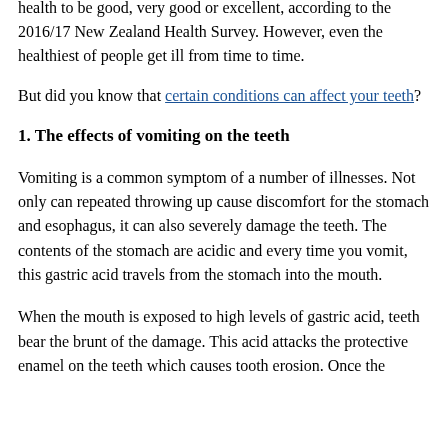health to be good, very good or excellent, according to the 2016/17 New Zealand Health Survey. However, even the healthiest of people get ill from time to time.
But did you know that certain conditions can affect your teeth?
1. The effects of vomiting on the teeth
Vomiting is a common symptom of a number of illnesses. Not only can repeated throwing up cause discomfort for the stomach and esophagus, it can also severely damage the teeth. The contents of the stomach are acidic and every time you vomit, this gastric acid travels from the stomach into the mouth.
When the mouth is exposed to high levels of gastric acid, teeth bear the brunt of the damage. This acid attacks the protective enamel on the teeth which causes tooth erosion. Once the